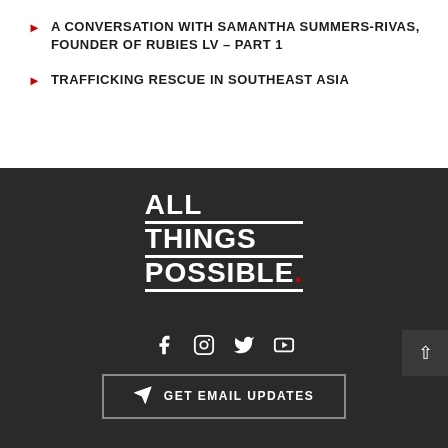A CONVERSATION WITH SAMANTHA SUMMERS-RIVAS, FOUNDER OF RUBIES LV – PART 1
TRAFFICKING RESCUE IN SOUTHEAST ASIA
[Figure (logo): All Things Possible logo in white bold text on dark background with red period]
[Figure (infographic): Social media icons: Facebook, Instagram, Twitter, YouTube]
GET EMAIL UPDATES